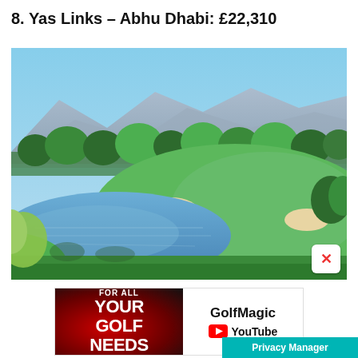8. Yas Links – Abhu Dhabi: £22,310
[Figure (photo): Aerial view of a lush green golf course with a large water hazard/lake in the foreground reflecting the sky, surrounded by trees and sand bunkers, with mountains visible in the background under a clear blue sky.]
[Figure (infographic): GolfMagic YouTube advertisement banner. Left side shows dark red background with text 'FOR ALL YOUR GOLF NEEDS' in white bold text. Right side white background with 'GolfMagic' text and YouTube logo.]